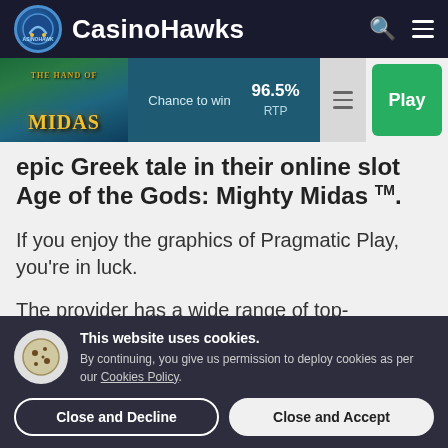CasinoHawks
[Figure (screenshot): Game banner for 'The Hand of Midas' slot showing game thumbnail, Chance to win label, 96.5% RTP, menu icon, and Play button]
epic Greek tale in their online slot Age of the Gods: Mighty Midas™.
If you enjoy the graphics of Pragmatic Play, you're in luck.
The provider has a wide range of top-
This website uses cookies. By continuing, you give us permission to deploy cookies as per our Cookies Policy.
Close and Decline
Close and Accept